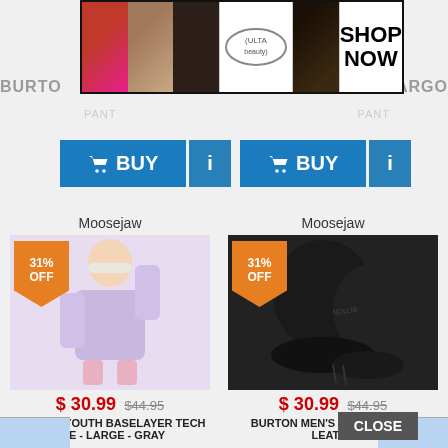[Figure (screenshot): Ulta Beauty advertisement banner with makeup images and SHOP NOW text]
BURTON
CARGO
PANT
PANT
[Figure (screenshot): BUY button (cart icon) and info button (i icon) - left product]
[Figure (screenshot): BUY button (cart icon) and info button (i icon) - right product]
Moosejaw
Moosejaw
31% OFF
[Figure (photo): Burton Youth Baselayer Tech Tee - youth model wearing gray/lavender long sleeve shirt with white beanie]
31% OFF
[Figure (photo): Burton Men's Work Horse Leather - black leather mittens/gloves with Burton logo]
$ 30.99  $44.95
BURTON YOUTH BASELAYER TECH TEE - LARGE - GRAY
$ 30.99  $44.95
BURTON MEN'S WORK HORSE LEATH...
CLOSE